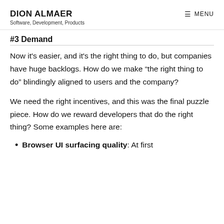DION ALMAER
Software, Development, Products
#3 Demand
Now it's easier, and it's the right thing to do, but companies have huge backlogs. How do we make “the right thing to do” blindingly aligned to users and the company?
We need the right incentives, and this was the final puzzle piece. How do we reward developers that do the right thing? Some examples here are:
Browser UI surfacing quality: At first